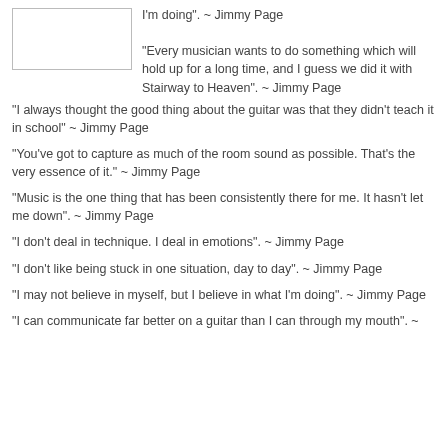[Figure (photo): Image placeholder box (white rectangle with border)]
I'm doing". ~ Jimmy Page

"Every musician wants to do something which will hold up for a long time, and I guess we did it with Stairway to Heaven". ~ Jimmy Page
"I always thought the good thing about the guitar was that they didn't teach it in school" ~ Jimmy Page
"You've got to capture as much of the room sound as possible. That's the very essence of it." ~ Jimmy Page
"Music is the one thing that has been consistently there for me. It hasn't let me down". ~ Jimmy Page
"I don't deal in technique. I deal in emotions". ~ Jimmy Page
"I don't like being stuck in one situation, day to day". ~ Jimmy Page
"I may not believe in myself, but I believe in what I'm doing". ~ Jimmy Page
"I can communicate far better on a guitar than I can through my mouth". ~